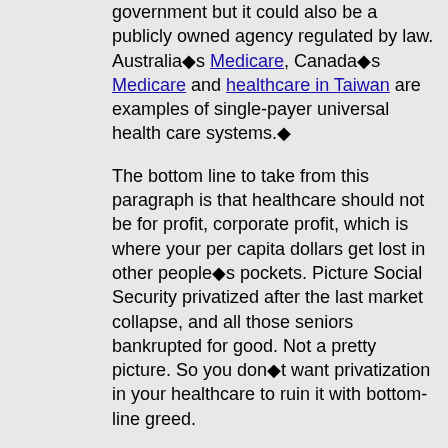administrator of the fund could be the government but it could also be a publicly owned agency regulated by law. Australia's Medicare, Canada's Medicare and healthcare in Taiwan are examples of single-payer universal health care systems.◆
The bottom line to take from this paragraph is that healthcare should not be for profit, corporate profit, which is where your per capita dollars get lost in other people◆s pockets. Picture Social Security privatized after the last market collapse, and all those seniors bankrupted for good. Not a pretty picture. So you don◆t want privatization in your healthcare to ruin it with bottom-line greed.
◆According to the National Library of Medicine◆s Medical Subject Headings (MeSH) thesaurus, a single-payer system is: An approach to health care financing with only one source of money for paying healthcare providers. The scope may be national, like the Canadian system, statewide, or community-based. The payer may be a governmental unit or other entity